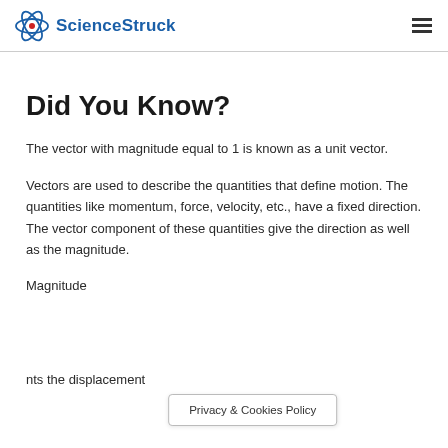ScienceStruck
Did You Know?
The vector with magnitude equal to 1 is known as a unit vector.
Vectors are used to describe the quantities that define motion. The quantities like momentum, force, velocity, etc., have a fixed direction. The vector component of these quantities give the direction as well as the magnitude.
Magnitude … nts the displacement
Privacy & Cookies Policy